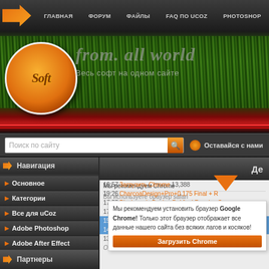ГЛАВНАЯ | ФОРУМ | ФАЙЛЫ | FAQ ПО UCOZ | PHOTOSHOP
[Figure (screenshot): Website banner with orange globe logo showing 'Soft' text, green grass background, and text 'from all world - Весь софт на одном сайте']
Поиск по сайту
Оставайся с нами
Навигация
Основное
Категории
Все для uCoz
Adobe Photoshop
Adobe After Effect
SoftFAW.Ru
Партнеры
Де
Мы рекомендуем Chrome
Вы используете браузер safari
Мы рекомендуем установить браузер Google Chrome! Только этот браузер отображает все данные нашего сайта без всяких лагов и косяков!
19:57 Загрузить Chrome 13,388
19:26 CharcoaDesign+Pro+0.175 Final + R
17:55 Blackmagic Design DaVinci Resolve S
17:14 Free YouTube Download 4.3.24,729 Pr
15:48 Topaz DeNoise AI 2.2.4 RePack & Por
14:50 BackupAssist Desktop 10.5.4
13:34 Avira Phantom VPN Pro 2.34.3.23032 F
Окно закроется через 30 секунд